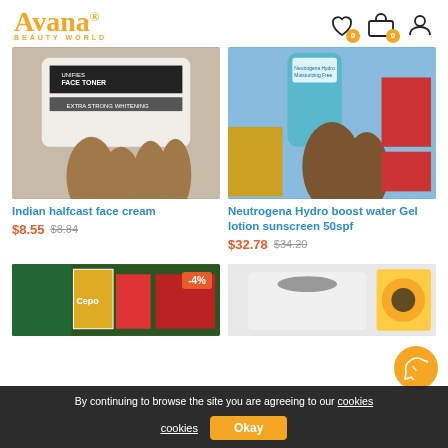[Figure (logo): Avana Beauty World logo in gold/yellow color]
[Figure (photo): Hand holding Indian halfcast face cream toner product]
[Figure (photo): Hand holding Neutrogena Hydro Boost water gel lotion sunscreen 50spf blue tube]
Indian halfcast face cream
$8.55  $8.84
Neutrogena Hydro boost water Gel lotion sunscreen 50spf
$32.78  $34.20
[Figure (photo): Beauty products on shelf with -4% discount badge]
[Figure (photo): White product container on shelf]
By continuing to browse the site you are agreeing to our cookies
Okay